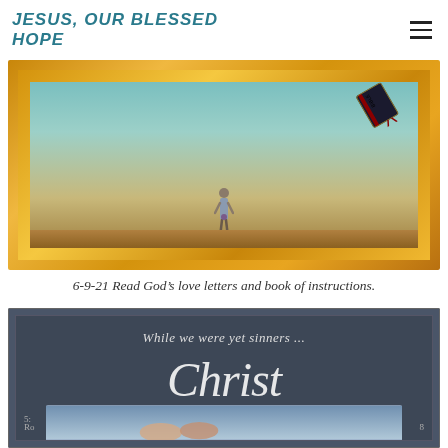JESUS, OUR BLESSED HOPE
[Figure (illustration): A gold ornate picture frame containing an illustration of a small child standing and looking up at a Bible falling from the upper right corner, set against a teal/warm background]
6-9-21 Read God’s love letters and book of instructions.
[Figure (illustration): A dark slate-blue framed image with decorative text reading 'While we were yet sinners ... Christ' in blackletter and script fonts, with a partial photograph strip at the bottom]